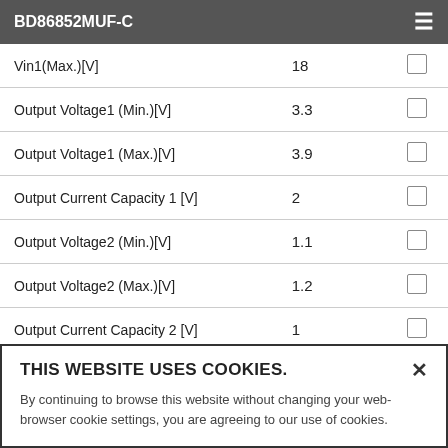BD86852MUF-C
| Parameter | Value |  |
| --- | --- | --- |
| Vin1(Max.)[V] | 18 |  |
| Output Voltage1 (Min.)[V] | 3.3 |  |
| Output Voltage1 (Max.)[V] | 3.9 |  |
| Output Current Capacity 1 [V] | 2 |  |
| Output Voltage2 (Min.)[V] | 1.1 |  |
| Output Voltage2 (Max.)[V] | 1.2 |  |
| Output Current Capacity 2 [V] | 1 |  |
THIS WEBSITE USES COOKIES. By continuing to browse this website without changing your web-browser cookie settings, you are agreeing to our use of cookies.